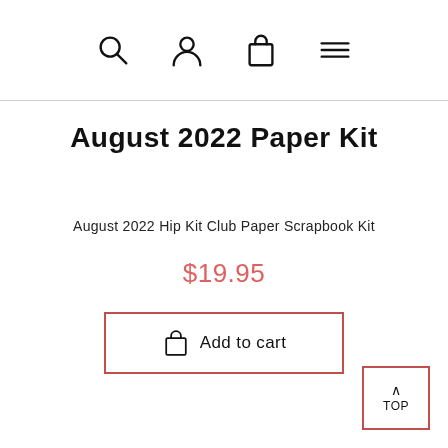[search icon] [user icon] [bag icon] [menu icon]
August 2022 Paper Kit
August 2022 Hip Kit Club Paper Scrapbook Kit
$19.95
Add to cart
TOP